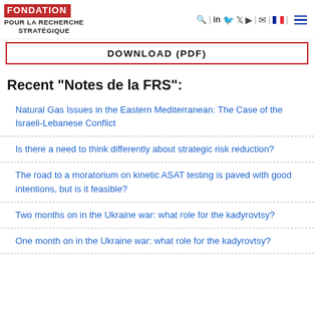FONDATION pour la RECHERCHE STRATÉGIQUE — navigation header
DOWNLOAD (PDF)
Recent "Notes de la FRS":
Natural Gas Issues in the Eastern Mediterranean: The Case of the Israeli-Lebanese Conflict
Is there a need to think differently about strategic risk reduction?
The road to a moratorium on kinetic ASAT testing is paved with good intentions, but is it feasible?
Two months on in the Ukraine war: what role for the kadyrovtsy?
One month on in the Ukraine war: what role for the kadyrovtsy?